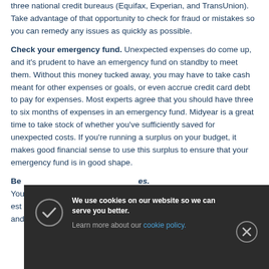three national credit bureaus (Equifax, Experian, and TransUnion). Take advantage of that opportunity to check for fraud or mistakes so you can remedy any issues as quickly as possible.
Check your emergency fund. Unexpected expenses do come up, and it's prudent to have an emergency fund on standby to meet them. Without this money tucked away, you may have to take cash meant for other expenses or goals, or even accrue credit card debt to pay for expenses. Most experts agree that you should have three to six months of expenses in an emergency fund. Midyear is a great time to take stock of whether you've sufficiently saved for unexpected costs. If you're running a surplus on your budget, it makes good financial sense to use this surplus to ensure that your emergency fund is in good shape.
Be [partially obscured by cookie banner] es. You [partially obscured] her est [partially obscured] ly and [partially obscured]
We use cookies on our website so we can serve you better. Learn more about our cookie policy.